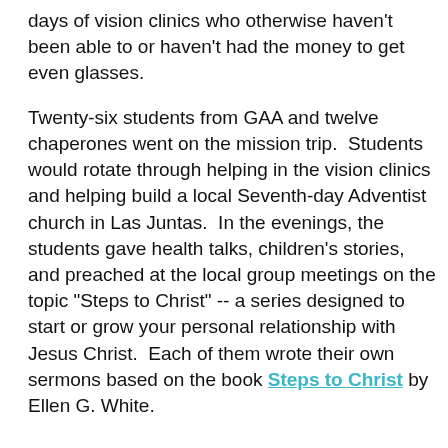days of vision clinics who otherwise haven't been able to or haven't had the money to get even glasses.
Twenty-six students from GAA and twelve chaperones went on the mission trip.  Students would rotate through helping in the vision clinics and helping build a local Seventh-day Adventist church in Las Juntas.  In the evenings, the students gave health talks, children's stories, and preached at the local group meetings on the topic "Steps to Christ" -- a series designed to start or grow your personal relationship with Jesus Christ.  Each of them wrote their own sermons based on the book Steps to Christ by Ellen G. White.